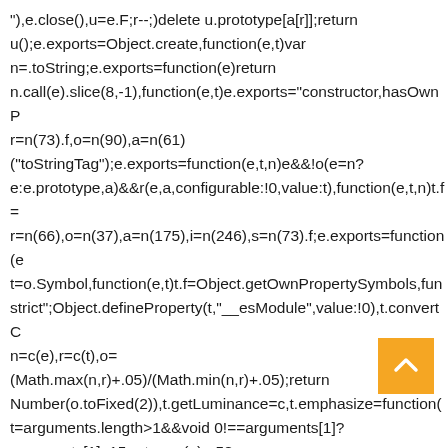"),e.close(),u=e.F;r--;)delete u.prototype[a[r]];return u();e.exports=Object.create,function(e,t)var n=.toString;e.exports=function(e)return n.call(e).slice(8,-1),function(e,t)e.exports="constructor,hasOwnP r=n(73).f,o=n(90),a=n(61) ("toStringTag");e.exports=function(e,t,n)e&&!o(e=n? e:e.prototype,a)&&r(e,a,configurable:!0,value:t),function(e,t,n)t.f= r=n(66),o=n(37),a=n(175),i=n(246),s=n(73).f;e.exports=function(e t=o.Symbol,function(e,t)t.f=Object.getOwnPropertySymbols,fun strict";Object.defineProperty(t,"__esModule",value:!0),t.convertC n=c(e),r=c(t),o= (Math.max(n,r)+.05)/(Math.min(n,r)+.05);return Number(o.toFixed(2)),t.getLuminance=c,t.emphasize=function( t=arguments.length>1&&void 0!==arguments[1]? arguments[1]:.15;return c(e)>.5? l(e,t):d(e,t),t.fade=function(e,t)e=u(e),t=a(t,0,1), ("rgb"===e.type,t.darken=l,t.lighten=d;var r,o=n(178); (r=o)&&r.__esModule;function a(e,t,n)return en?n:efur i(e)var t=e.type,n=e.values;if(t.indexOf("rgb")>-1)for(var r=0;r<3;r++)n[r]=parseInt(n[r]);var o=void 0;return
[Figure (other): Orange/yellow square button with a white upward-pointing chevron arrow (back-to-top button)]